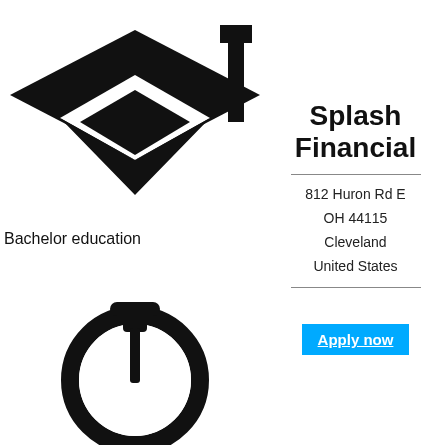[Figure (illustration): Graduation cap icon (mortarboard) in black, large, occupying the upper-left area of the page]
Bachelor education
[Figure (illustration): Stopwatch/timer icon in black, occupying the lower-left area of the page]
Splash Financial
812 Huron Rd E
OH 44115
Cleveland
United States
Apply now